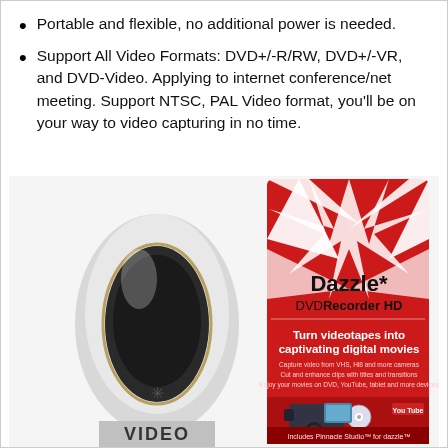Portable and flexible, no additional power is needed.
Support All Video Formats: DVD+/-R/RW, DVD+/-VR, and DVD-Video. Applying to internet conference/net meeting. Support NTSC, PAL Video format, you'll be on your way to video capturing in no time.
[Figure (photo): Product photo showing a Dazzle DVD Recorder HD device (a white/silver teardrop-shaped USB video capture device) next to its retail box. The box is red with white star/cross design and reads 'Dazzle* DVD Recorder HD' and 'Turn videotapes into captivating digital movies'. A camcorder and DVD disc are shown at the bottom of the box.]